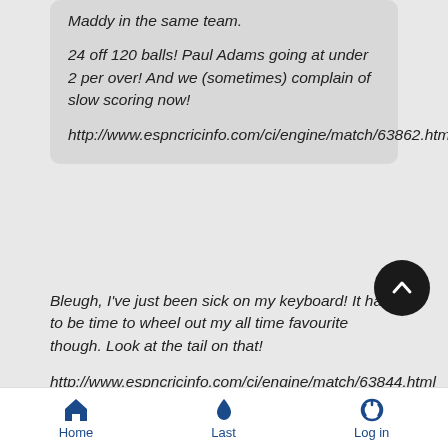Maddy in the same team.

24 off 120 balls! Paul Adams going at under 2 per over! And we (sometimes) complain of slow scoring now!

http://www.espncricinfo.com/ci/engine/match/63862.html
Bleugh, I've just been sick on my keyboard! It has to be time to wheel out my all time favourite though. Look at the tail on that!

http://www.espncricinfo.com/ci/engine/match/63844.html
Home | Last | Log in